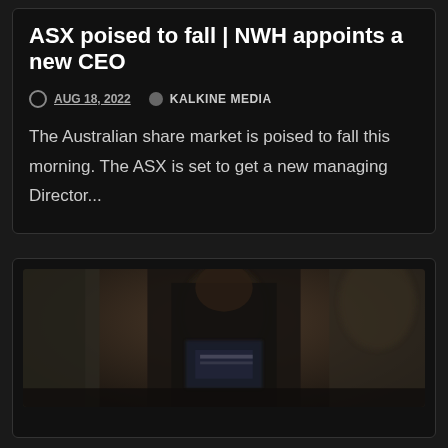ASX poised to fall | NWH appoints a new CEO
AUG 18, 2022   KALKINE MEDIA
The Australian share market is poised to fall this morning. The ASX is set to get a new managing Director...
[Figure (photo): A dark, blurry photograph of a person in dark clothing, appears to be outdoors near a building. The image is partially obscured and low contrast.]